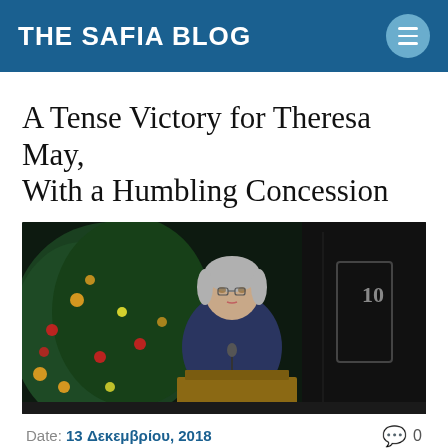THE SAFIA BLOG
A Tense Victory for Theresa May, With a Humbling Concession
[Figure (photo): Theresa May speaking at a podium outside 10 Downing Street, with a Christmas tree in background]
Date: 13 Δεκεμβρίου, 2018   💬 0